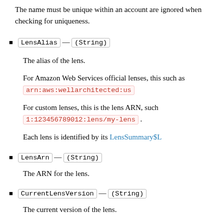The name must be unique within an account are ignored when checking for uniqueness.
LensAlias — (String)
The alias of the lens.
For Amazon Web Services official lenses, this such as arn:aws:wellarchitected:us
For custom lenses, this is the lens ARN, such 1:123456789012:lens/my-lens .
Each lens is identified by its LensSummary$L
LensArn — (String)
The ARN for the lens.
CurrentLensVersion — (String)
The current version of the lens.